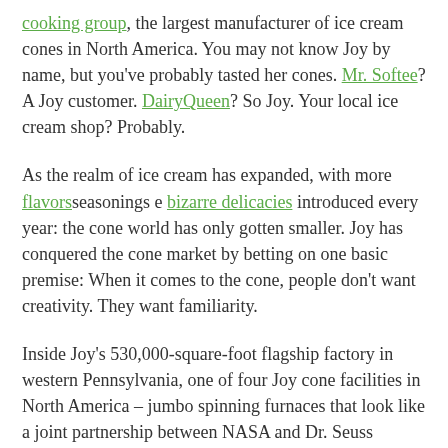cooking group, the largest manufacturer of ice cream cones in North America. You may not know Joy by name, but you've probably tasted her cones. Mr. Softee? A Joy customer. DairyQueen? So Joy. Your local ice cream shop? Probably.
As the realm of ice cream has expanded, with more flavorsseasonings e bizarre delicacies introduced every year: the cone world has only gotten smaller. Joy has conquered the cone market by betting on one basic premise: When it comes to the cone, people don't want creativity. They want familiarity.
Inside Joy's 530,000-square-foot flagship factory in western Pennsylvania, one of four Joy cone facilities in North America – jumbo spinning furnaces that look like a joint partnership between NASA and Dr. Seuss operates 24 hours a day, producing 15 to 20 million cones per day